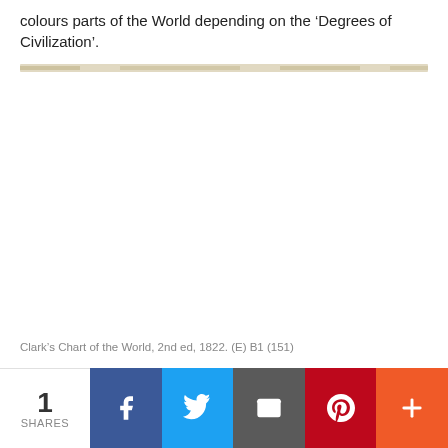colours parts of the World depending on the ‘Degrees of Civilization’.
[Figure (photo): A thin horizontal strip showing what appears to be a faded/aged map or chart image, very narrow in height.]
Clark’s Chart of the World, 2nd ed, 1822. (E) B1 (151)
1 SHARES  [Facebook] [Twitter] [Email] [Pinterest] [More]